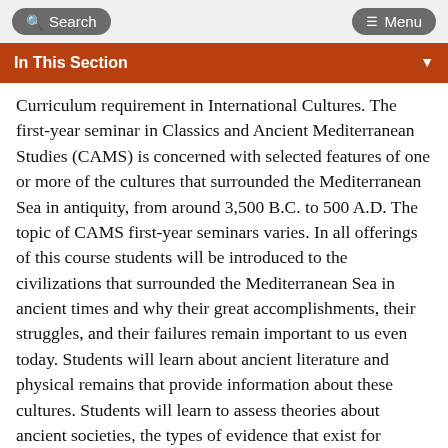Search   Menu
In This Section
Curriculum requirement in International Cultures. The first-year seminar in Classics and Ancient Mediterranean Studies (CAMS) is concerned with selected features of one or more of the cultures that surrounded the Mediterranean Sea in antiquity, from around 3,500 B.C. to 500 A.D. The topic of CAMS first-year seminars varies. In all offerings of this course students will be introduced to the civilizations that surrounded the Mediterranean Sea in ancient times and why their great accomplishments, their struggles, and their failures remain important to us even today. Students will learn about ancient literature and physical remains that provide information about these cultures. Students will learn to assess theories about ancient societies, the types of evidence that exist for antiquity, and how to gain access to academic resources in the library and in electronic form. Some recent seminar topics include a critical study of widely believed Ancient Mysteries, such as the continent of Atlantis and Pyramid Power; a seminar on Greek Gods in Action, investigating how the Greeks believed that the gods